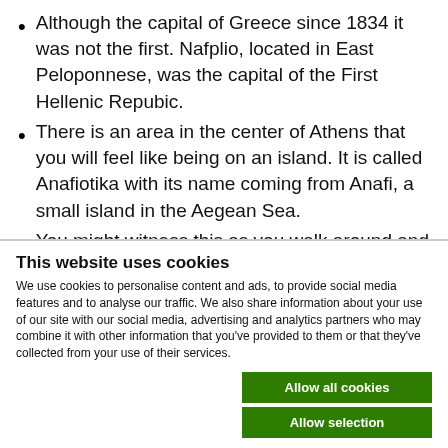Although the capital of Greece since 1834 it was not the first. Nafplio, located in East Peloponnese, was the capital of the First Hellenic Repubic.
There is an area in the center of Athens that you will feel like being on an island. It is called Anafiotika with its name coming from Anafi, a small island in the Aegean Sea.
You might witness this as you walk around and in some Metro Stations, the city is full of ancient ruins everywhere.
This website uses cookies
We use cookies to personalise content and ads, to provide social media features and to analyse our traffic. We also share information about your use of our site with our social media, advertising and analytics partners who may combine it with other information that you've provided to them or that they've collected from your use of their services.